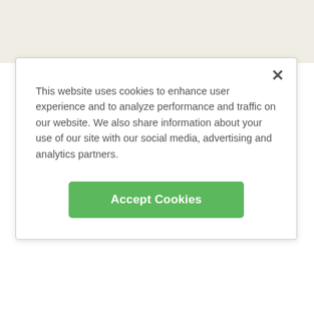[Figure (map): Street map showing Gratiot Ave area with road markings and green areas]
This website uses cookies to enhance user experience and to analyze performance and traffic on our website. We also share information about your use of our site with our social media, advertising and analytics partners.
Accept Cookies
25195 Kelly Rd Ste A, Roseville, MI 48066
(586) 775-4594
Eastside Cardiovascular Medicine, P.C.
Eastside Cardiovascular Medicine, P.C.
ADVERTISEMENT
[Figure (infographic): Healthgrades advertisement banner: 5-star doctors really do exist. Find Yours Today]